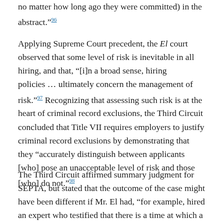no matter how long ago they were committed) in the abstract."96
Applying Supreme Court precedent, the El court observed that some level of risk is inevitable in all hiring, and that, "[i]n a broad sense, hiring policies ... ultimately concern the management of risk."97 Recognizing that assessing such risk is at the heart of criminal record exclusions, the Third Circuit concluded that Title VII requires employers to justify criminal record exclusions by demonstrating that they "accurately distinguish between applicants [who] pose an unacceptable level of risk and those [who] do not."98
The Third Circuit affirmed summary judgment for SEPTA, but stated that the outcome of the case might have been different if Mr. El had, "for example, hired an expert who testified that there is a time at which a former criminal is no longer any more likely to recidivate than the average